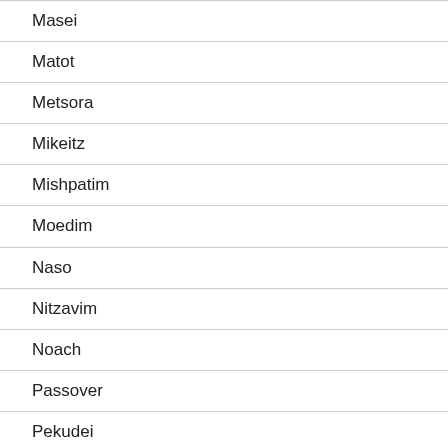Masei
Matot
Metsora
Mikeitz
Mishpatim
Moedim
Naso
Nitzavim
Noach
Passover
Pekudei